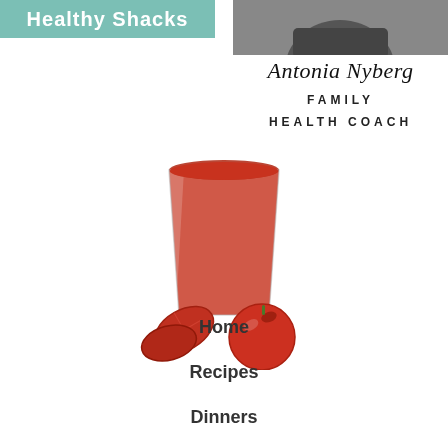[Figure (other): Green banner with white bold text reading 'Healthy Shacks']
[Figure (photo): Photo of a woman wearing a dark jacket, cropped to show shoulders and lower face]
Antonia Nyberg
FAMILY
HEALTH COACH
[Figure (photo): A glass of tomato juice with tomato slices and a whole tomato beside it on a white background]
Home
Recipes
Dinners